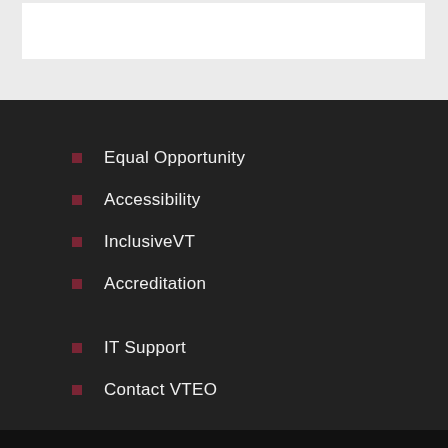Equal Opportunity
Accessibility
InclusiveVT
Accreditation
IT Support
Contact VTEO